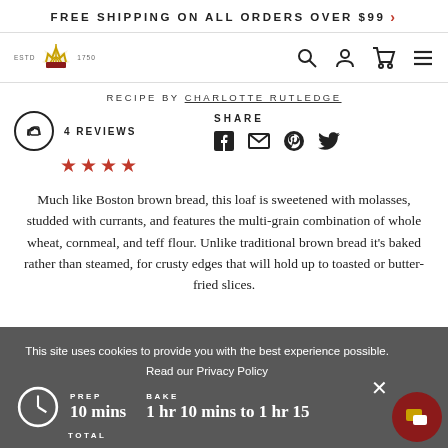FREE SHIPPING ON ALL ORDERS OVER $99 >
[Figure (logo): Crown/wheat sheaf logo with ESTD 1750 text]
RECIPE BY CHARLOTTE RUTLEDGE
4 REVIEWS (4 stars) | SHARE
Much like Boston brown bread, this loaf is sweetened with molasses, studded with currants, and features the multi-grain combination of whole wheat, cornmeal, and teff flour. Unlike traditional brown bread it's baked rather than steamed, for crusty edges that will hold up to toasted or butter-fried slices.
This site uses cookies to provide you with the best experience possible. Read our Privacy Policy
PREP 10 mins | BAKE 1 hr 10 mins to 1 hr 15 | TOTAL